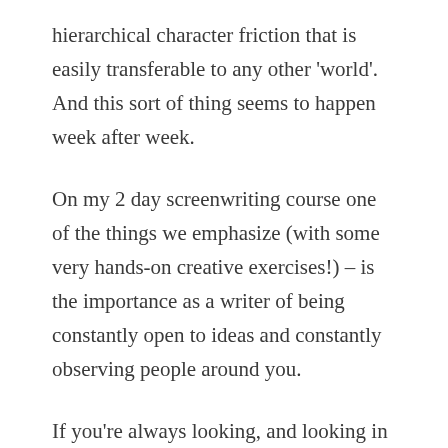hierarchical character friction that is easily transferable to any other 'world'. And this sort of thing seems to happen week after week.
On my 2 day screenwriting course one of the things we emphasize (with some very hands-on creative exercises!) – is the importance as a writer of being constantly open to ideas and constantly observing people around you.
If you're always looking, and looking in the right way, you will constantly have good ideas that you want to write about.